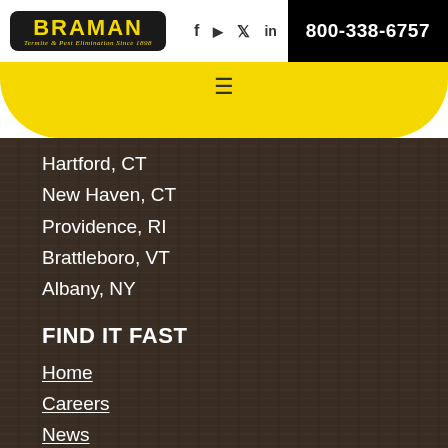BRAMAN Termite & Pest Elimination Since 1898 | 800-338-6757
Hartford, CT
New Haven, CT
Providence, RI
Brattleboro, VT
Albany, NY
FIND IT FAST
Home
Careers
News
Pests
Site Map